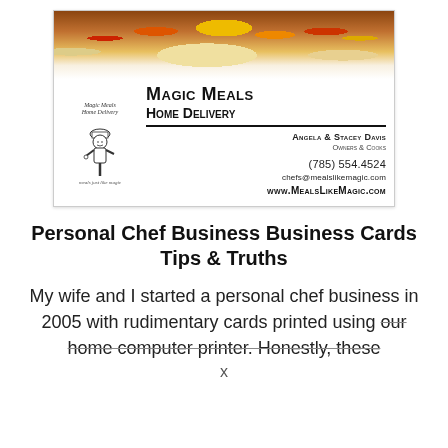[Figure (other): Magic Meals Home Delivery business card. Shows a photo of colorful vegetables at the top, a cartoon chef logo on the left, and contact information: Angela & Stacey Davis, Owners & Cooks, (785) 554.4524, chefs@mealslikemagic.com, www.MealsLikeMagic.com]
Personal Chef Business Business Cards Tips & Truths
My wife and I started a personal chef business in 2005 with rudimentary cards printed using our home computer printer. Honestly, these